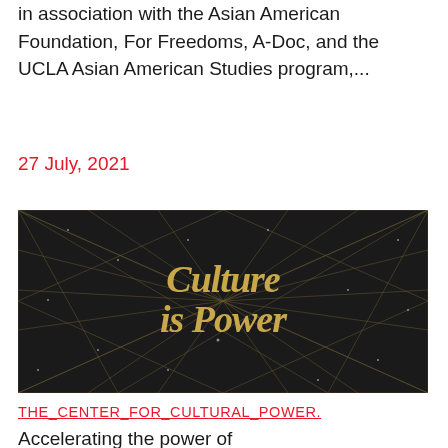in association with the Asian American Foundation, For Freedoms, A-Doc, and the UCLA Asian American Studies program,...
27 July, 2021
[Figure (illustration): Dark background with geometric gold line pattern and gold script text reading 'Culture is Power']
THE_CENTER_FOR_CULTURAL_POWER.
Accelerating the power of